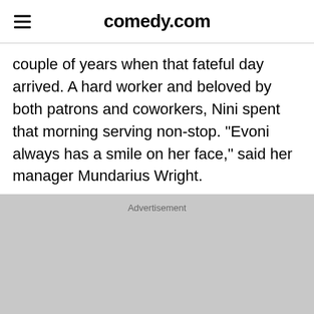comedy.com
couple of years when that fateful day arrived. A hard worker and beloved by both patrons and coworkers, Nini spent that morning serving non-stop. "Evoni always has a smile on her face," said her manager Mundarius Wright.
Advertisement
[Figure (other): Advertisement banner area (gray placeholder)]
[Figure (other): Bottom advertisement banner showing 'the Heat Hit you!' text in black and orange, with an AC unit icon, mountain graphic, and 'Shop N' button. Amazon branding at bottom left.]